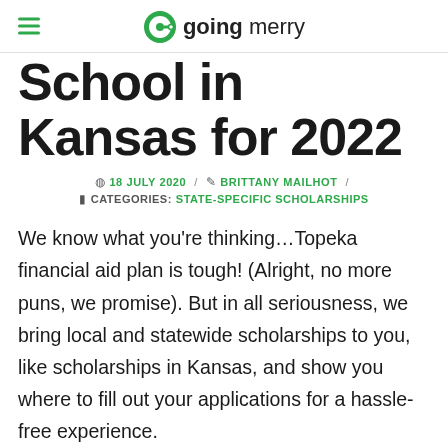going merry
School in Kansas for 2022
18 JULY 2020 / BRITTANY MAILHOT / CATEGORIES: STATE-SPECIFIC SCHOLARSHIPS
We know what you're thinking…Topeka financial aid plan is tough! (Alright, no more puns, we promise). But in all seriousness, we bring local and statewide scholarships to you, like scholarships in Kansas, and show you where to fill out your applications for a hassle-free experience.